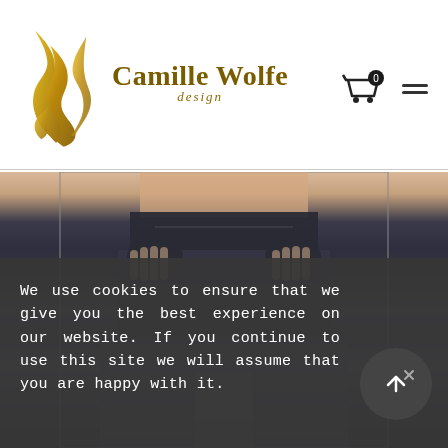[Figure (logo): Camille Wolfe Design logo with golden flame/feather SVG graphic and brand name text in dark gold serif font]
[Figure (photo): A model wearing a black sheer flowing skirt with dark opaque waistband and shorts underneath, hands on hips, midriff visible, white background]
We use cookies to ensure that we give you the best experience on our website. If you continue to use this site we will assume that you are happy with it.